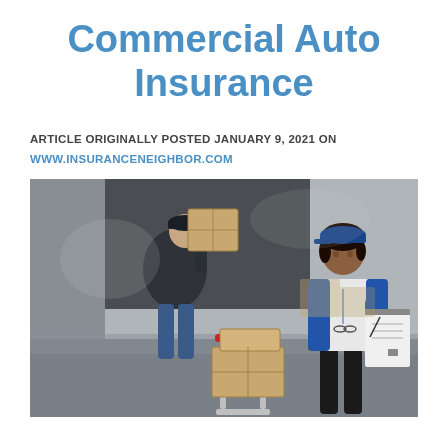Commercial Auto Insurance
ARTICLE ORIGINALLY POSTED JANUARY 9, 2021 ON WWW.INSURANCENEIGHBOR.COM
[Figure (photo): Two delivery workers near a van with packages on a hand truck. A woman in a blue vest and cap is writing on a clipboard in the foreground, while a man in a dark uniform is loading boxes in the background.]